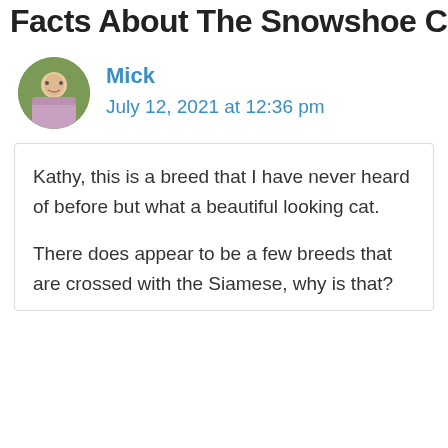Facts About The Snowshoe Cat
Mick
July 12, 2021 at 12:36 pm
Kathy, this is a breed that I have never heard of before but what a beautiful looking cat.

There does appear to be a few breeds that are crossed with the Siamese, why is that?